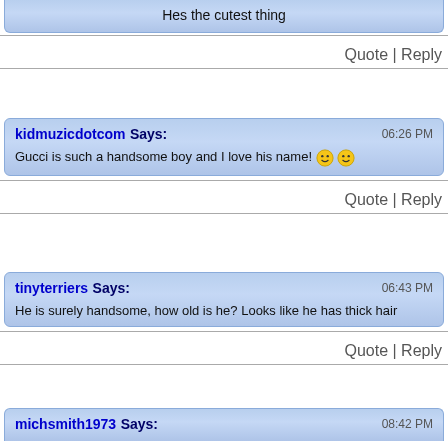Hes the cutest thing
Quote | Reply
kidmuzicdotcom Says: 06:26 PM
Gucci is such a handsome boy and I love his name! 🙂🙂
Quote | Reply
tinyterriers Says: 06:43 PM
He is surely handsome, how old is he? Looks like he has thick hair
Quote | Reply
michsmith1973 Says: 08:42 PM